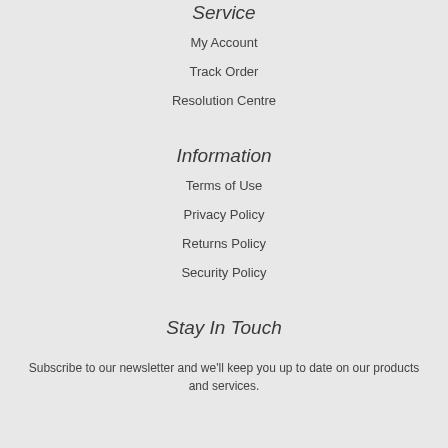Service
My Account
Track Order
Resolution Centre
Information
Terms of Use
Privacy Policy
Returns Policy
Security Policy
Stay In Touch
Subscribe to our newsletter and we'll keep you up to date on our products and services.